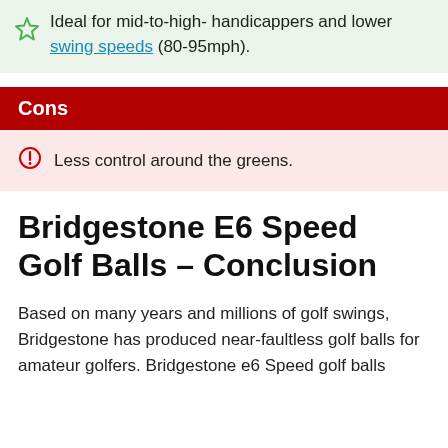Ideal for mid-to-high- handicappers and lower swing speeds (80-95mph).
Cons
Less control around the greens.
Bridgestone E6 Speed Golf Balls – Conclusion
Based on many years and millions of golf swings, Bridgestone has produced near-faultless golf balls for amateur golfers. Bridgestone e6 Speed golf balls